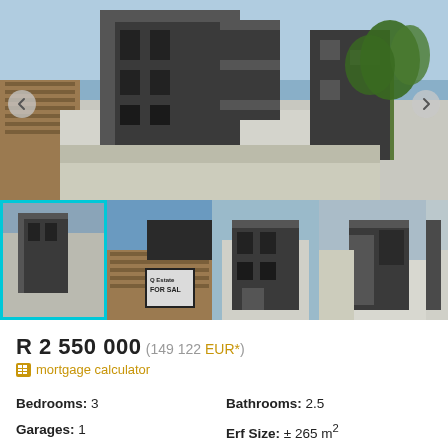[Figure (photo): Main large photo of modern two-storey house with dark grey geometric facade, concrete walls, and a palm tree. Navigation arrows on left and right sides.]
[Figure (photo): Row of thumbnail photos of the same modern house property from various angles. First thumbnail has a cyan/teal selection border.]
R 2 550 000 (149 122 EUR*)
mortgage calculator
Bedrooms: 3
Bathrooms: 2.5
Garages: 1
Erf Size: ± 265 m²
Floor Size: ± 215m²